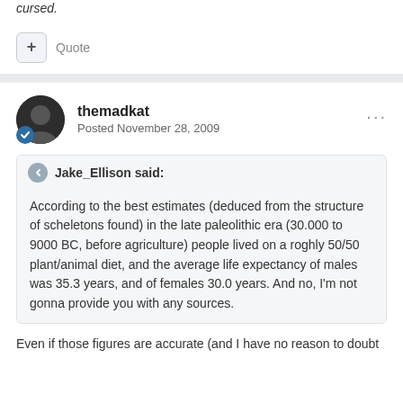cursed.
+ Quote
themadkat
Posted November 28, 2009
Jake_Ellison said:
According to the best estimates (deduced from the structure of scheletons found) in the late paleolithic era (30.000 to 9000 BC, before agriculture) people lived on a roghly 50/50 plant/animal diet, and the average life expectancy of males was 35.3 years, and of females 30.0 years. And no, I'm not gonna provide you with any sources.
Even if those figures are accurate (and I have no reason to doubt